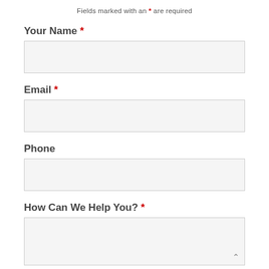Fields marked with an * are required
Your Name *
Email *
Phone
How Can We Help You? *